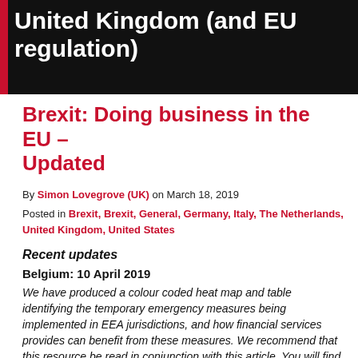[Figure (photo): Dark banner image with city lights from space, overlaid with white bold text reading 'United Kingdom (and EU regulation)']
Brexit: Doing business in the EU – Updated
By Simon Lovegrove (UK) on March 18, 2019
Posted in Brexit, Brexit, General, Germany, Italy, The Netherlands, United Kingdom, United States
Recent updates
Belgium: 10 April 2019
We have produced a colour coded heat map and table identifying the temporary emergency measures being implemented in EEA jurisdictions, and how financial services provides can benefit from these measures. We recommend that this resource be read in conjunction with this article. You will find our heat map and table on Brexit Pathfinder, our free Brexit hub housed on the Norton Rose